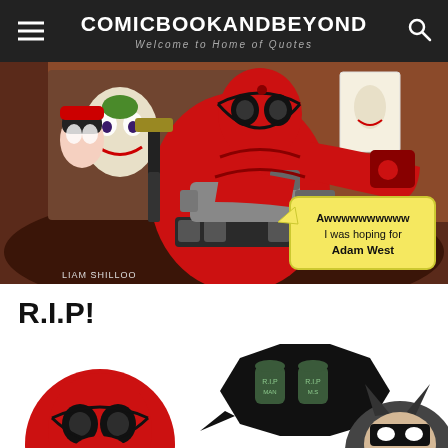COMICBOOKANDBEYOND — Welcome to Home of Quotes
[Figure (illustration): Comic book panel showing Deadpool in red and black costume holding a gun, with Harley Quinn and The Joker visible in the background. A speech bubble reads: 'Awwwwwwwwww I was hoping for Adam West'. Artist credit: LIAM SHILLOO]
R.I.P!
[Figure (illustration): Cartoon-style comic strip showing Deadpool (red and black mask) and Batman, with a speech bubble containing tombstone imagery (R.I.P. markers)]